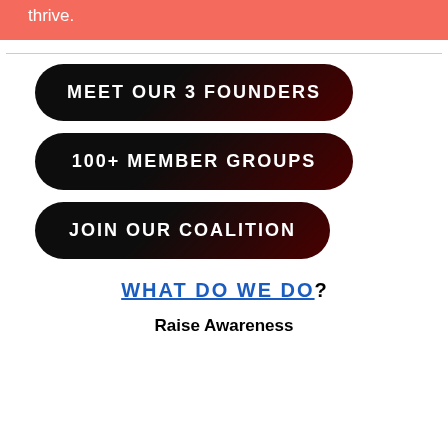thrive.
MEET OUR 3 FOUNDERS
100+ MEMBER GROUPS
JOIN OUR COALITION
WHAT DO WE DO?
Raise Awareness